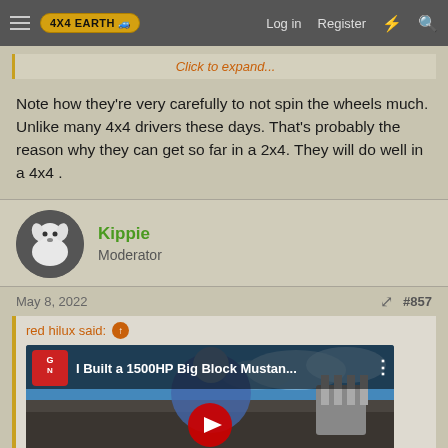4X4EARTH | Log in | Register
Click to expand...
Note how they're very carefully to not spin the wheels much. Unlike many 4x4 drivers these days. That's probably the reason why they can get so far in a 2x4. They will do well in a 4x4 .
Kippie
Moderator
May 8, 2022
#857
red hilux said:
[Figure (screenshot): YouTube video thumbnail for 'I Built a 1500HP Big Block Mustan...' showing a person leaning on a car engine outdoors]